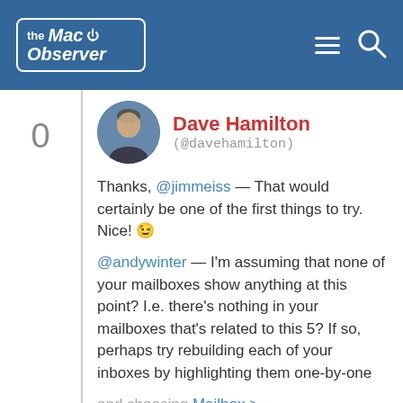the Mac Observer
0
[Figure (photo): Circular profile photo of Dave Hamilton, a man with short hair.]
Dave Hamilton (@davehamilton)
Thanks, @jimmeiss — That would certainly be one of the first things to try. Nice! 😉
@andywinter — I'm assuming that none of your mailboxes show anything at this point? I.e. there's nothing in your mailboxes that's related to this 5? If so, perhaps try rebuilding each of your inboxes by highlighting them one-by-one and choosing Mailbox > Rebuild to see if that helps?